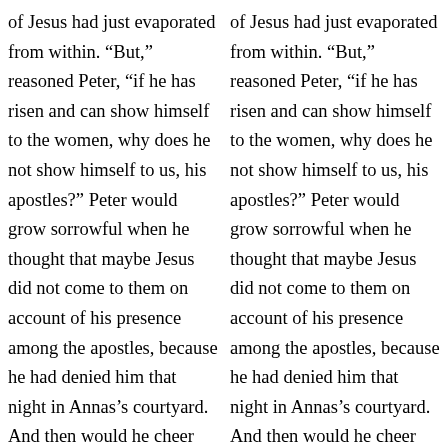of Jesus had just evaporated from within. “But,” reasoned Peter, “if he has risen and can show himself to the women, why does he not show himself to us, his apostles?” Peter would grow sorrowful when he thought that maybe Jesus did not come to them on account of his presence among the apostles, because he had denied him that night in Annas’s courtyard. And then would he cheer himself with the word brought by the women, “Go tell my apostles—and Peter.” But to derive encouragement from this message implied that he
of Jesus had just evaporated from within. “But,” reasoned Peter, “if he has risen and can show himself to the women, why does he not show himself to us, his apostles?” Peter would grow sorrowful when he thought that maybe Jesus did not come to them on account of his presence among the apostles, because he had denied him that night in Annas’s courtyard. And then would he cheer himself with the word brought by the women, “Go tell my apostles—and Peter.” But to derive encouragement from this message implied that he